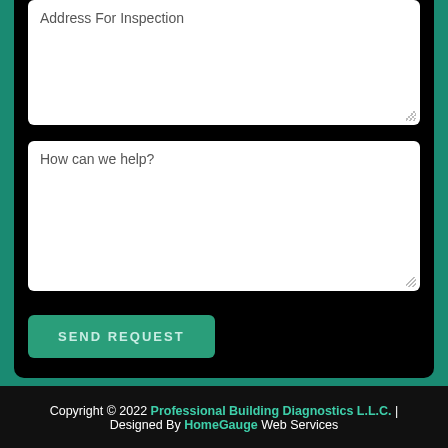Address For Inspection
How can we help?
SEND REQUEST
Copyright © 2022 Professional Building Diagnostics L.L.C. | Designed By HomeGauge Web Services